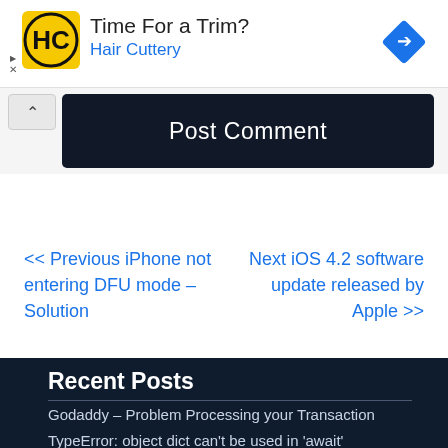[Figure (infographic): Advertisement banner for Hair Cuttery with yellow HC logo, text 'Time For a Trim?' and 'Hair Cuttery' in blue, and a blue diamond navigation icon on the right.]
Post Comment
<< Previous iPhone not entering DFU mode – Solution
Next iOS 4.2 software update released by Apple >>
Recent Posts
Godaddy – Problem Processing your Transaction
TypeError: object dict can't be used in 'await'